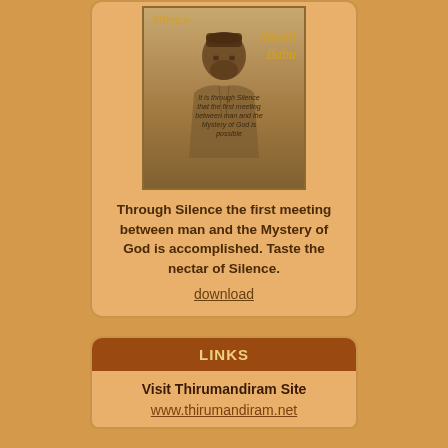[Figure (illustration): Book cover for 'Silence' by Mouni Babu showing a portrait of a bearded man wearing a cap, with a quote about Silence and the Mystery of God]
Through Silence the first meeting between man and the Mystery of God is accomplished. Taste the nectar of Silence.
download
LINKS
Visit Thirumandiram Site
www.thirumandiram.net